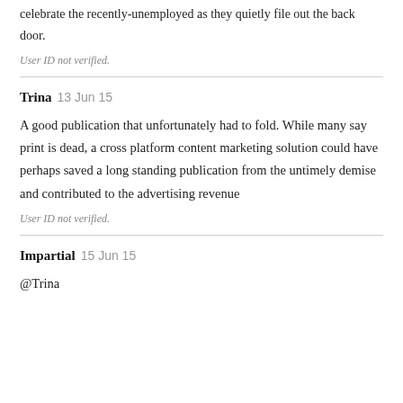celebrate the recently-unemployed as they quietly file out the back door.
User ID not verified.
Trina  13 Jun 15
A good publication that unfortunately had to fold. While many say print is dead, a cross platform content marketing solution could have perhaps saved a long standing publication from the untimely demise and contributed to the advertising revenue
User ID not verified.
Impartial  15 Jun 15
@Trina